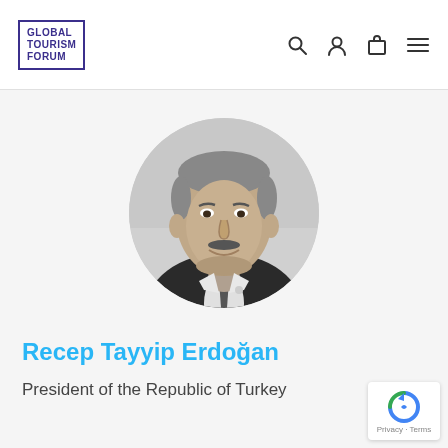GLOBAL TOURISM FORUM (logo with nav icons: search, user, cart, menu)
[Figure (photo): Black and white circular portrait photo of Recep Tayyip Erdogan, wearing a suit and tie, smiling.]
Recep Tayyip Erdoğan
President of the Republic of Turkey